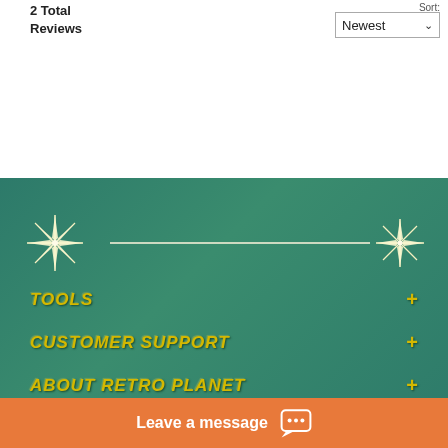2 Total Reviews
Sort: Newest
[Figure (illustration): Green footer section with decorative star/sparkle divider line, retro-styled navigation menu items in yellow italic bold text on teal/green background]
TOOLS +
CUSTOMER SUPPORT +
ABOUT RETRO PLANET +
CONNECT WITH US +
SIGN UP FOR OUR NEWSLETTER! +
Leave a message